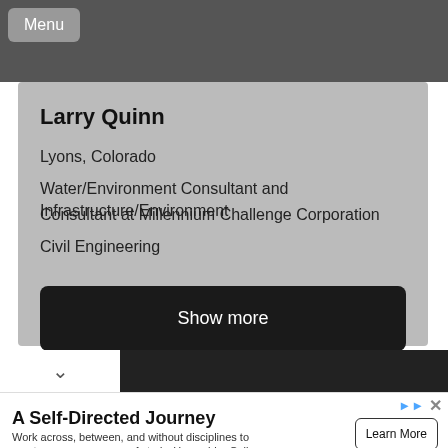[Figure (screenshot): Dark grey top bar area of a web page]
Menu
Larry Quinn
Lyons, Colorado
Water/Environment Consultant and Infrastructure/Environment Consultant at Millennium Challenge Corporation
Civil Engineering
Show more
A Self-Directed Journey
Work across, between, and without disciplines to curate your own course of study. Hampshire College
Learn More